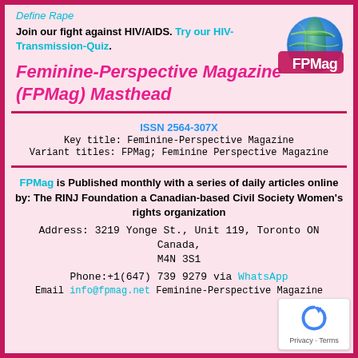Define Rape
Join our fight against HIV/AIDS. Try our HIV-Transmission-Quiz.
[Figure (logo): FPMag globe logo with text FPMag]
Feminine-Perspective Magazine (FPMag) Masthead
ISSN 2564-307X
Key title: Feminine-Perspective Magazine
Variant titles: FPMag; Feminine Perspective Magazine
FPMag is Published monthly with a series of daily articles online by: The RINJ Foundation a Canadian-based Civil Society Women's rights organization
Address: 3219 Yonge St., Unit 119, Toronto ON Canada, M4N 3S1
Phone:+1(647) 739 9279 via WhatsApp
Email info@fpmag.net Feminine-Perspective Magazine